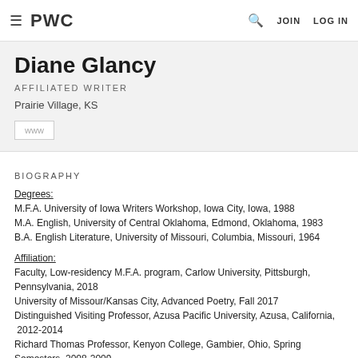≡  PWC    🔍  JOIN  LOG IN
Diane Glancy
AFFILIATED WRITER
Prairie Village, KS
[Figure (other): www button/icon link]
BIOGRAPHY
Degrees:
M.F.A. University of Iowa Writers Workshop, Iowa City, Iowa, 1988
M.A. English, University of Central Oklahoma, Edmond, Oklahoma, 1983
B.A. English Literature, University of Missouri, Columbia, Missouri, 1964
Affiliation:
Faculty, Low-residency M.F.A. program, Carlow University, Pittsburgh, Pennsylvania, 2018
University of Missour/Kansas City, Advanced Poetry, Fall 2017
Distinguished Visiting Professor, Azusa Pacific University, Azusa, California, 2012-2014
Richard Thomas Professor, Kenyon College, Gambier, Ohio, Spring Semesters, 2008-2009
Professor, Macalester College, St. Paul, Minnesota, 1988-2009
Edlestein-Keller Minnesota Writer of Distinction, University of